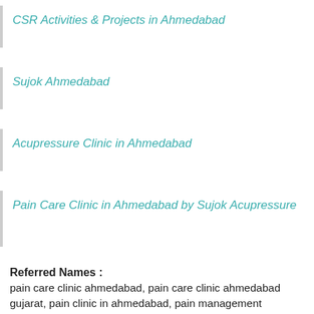CSR Activities & Projects in Ahmedabad
Sujok Ahmedabad
Acupressure Clinic in Ahmedabad
Pain Care Clinic in Ahmedabad by Sujok Acupressure
Referred Names :
pain care clinic ahmedabad, pain care clinic ahmedabad gujarat, pain clinic in ahmedabad, pain management ahmedabad, pain management clinic in ahmedabad, pain management doctor in ahmedabad, pain management specialist in ahmedabad, pain specialist